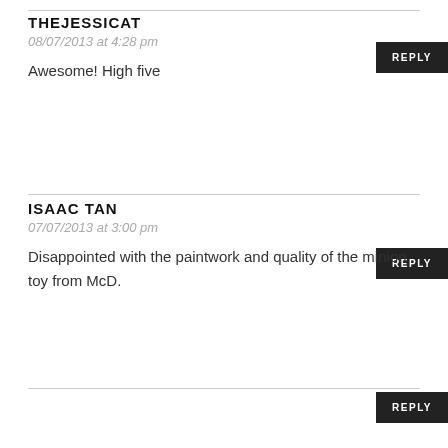THEJESSICAT
08/07/2013 at 4:28 pm
Awesome! High five
ISAAC TAN
07/07/2013 at 3:00 pm
Disappointed with the paintwork and quality of the minion toy from McD.